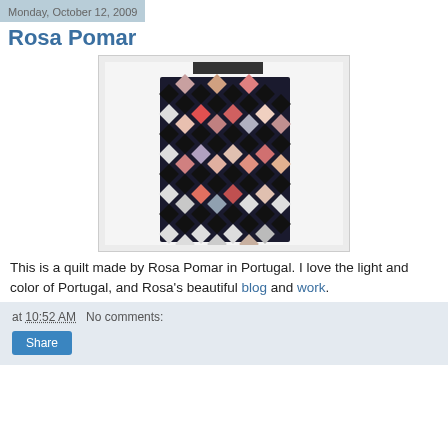Monday, October 12, 2009
Rosa Pomar
[Figure (photo): A patchwork quilt with diamond/square pattern in red, black, white, and floral fabrics, hanging on a white wall.]
This is a quilt made by Rosa Pomar in Portugal. I love the light and color of Portugal, and Rosa's beautiful blog and work.
at 10:52 AM   No comments:   Share